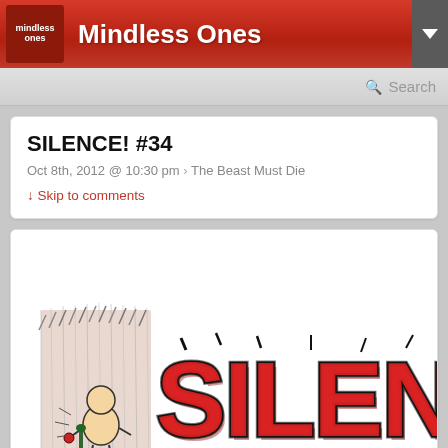Mindless Ones
SILENCE! #34
Oct 8th, 2012 @ 10:30 pm › The Beast Must Die
↓ Skip to comments
[Figure (illustration): SILENCE! comic podcast logo banner — large bold red lettering 'SILENCE!' with black outlines, dramatic comic book style, with a small cartoon figure on the left side against a sketchy background]